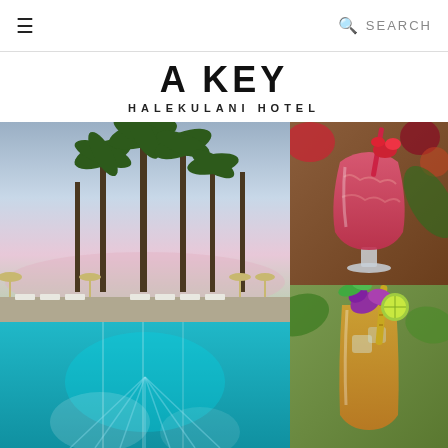≡   🔍 SEARCH
A KEY
HALEKULANI HOTEL
[Figure (photo): Tropical hotel pool at sunset with tall palm trees and lounge chairs beside a turquoise infinity pool reflecting palm silhouettes]
[Figure (photo): Close-up of a frozen pink/red tropical cocktail in a hurricane glass garnished with red flowers]
[Figure (photo): Close-up of a golden tropical cocktail in a tall glass garnished with purple orchids, mint, lime slice, and a bamboo straw]